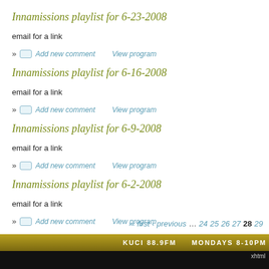Innamissions playlist for 6-23-2008
email for a link
» Add new comment   View program
Innamissions playlist for 6-16-2008
email for a link
» Add new comment   View program
Innamissions playlist for 6-9-2008
email for a link
» Add new comment   View program
Innamissions playlist for 6-2-2008
email for a link
» Add new comment   View program
« first  ‹ previous  … 24 25 26 27 28 29
KUCI 88.9FM   MONDAYS 8-10PM
xhtml